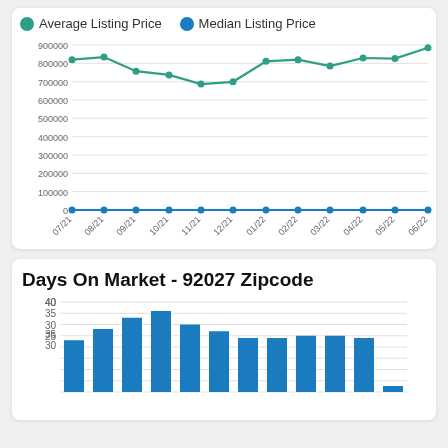[Figure (line-chart): Average Listing Price / Median Listing Price]
Days On Market - 92027 Zipcode
[Figure (bar-chart): Days On Market - 92027 Zipcode]